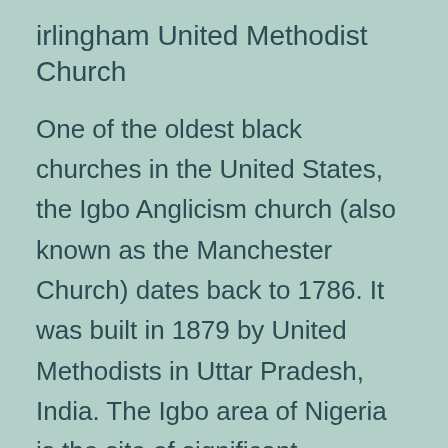irlingham United Methodist Church
One of the oldest black churches in the United States, the Igbo Anglicism church (also known as the Manchester Church) dates back to 1786. It was built in 1879 by United Methodists in Uttar Pradesh, India. The Igbo area of Nigeria is the site of significant traditional burial sites.
IMPchurch & Civic Center
The IMPchurch, based in Trainer, Alabama, has a rich collection of music, EEL books